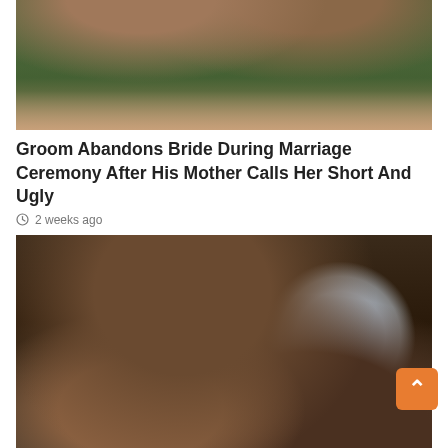[Figure (photo): Top portion of a photo showing hands and green foliage background — partial view of a wedding/outdoor scene]
Groom Abandons Bride During Marriage Ceremony After His Mother Calls Her Short And Ugly
2 weeks ago
[Figure (photo): A young African girl sitting on a dirt floor, wearing a patterned cloth, looking downward. A metal bowl is visible to the right.]
8-year-old girl battles for life as mother burns her over toffee worth 50 pesewas
2 weeks ago